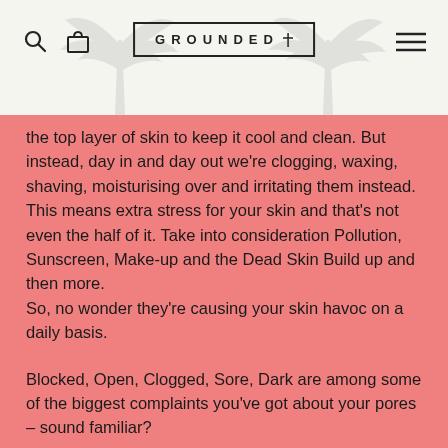GROUNDED
the top layer of skin to keep it cool and clean. But instead, day in and day out we're clogging, waxing, shaving, moisturising over and irritating them instead. This means extra stress for your skin and that's not even the half of it. Take into consideration Pollution, Sunscreen, Make-up and the Dead Skin Build up and then more.
So, no wonder they're causing your skin havoc on a daily basis.
Blocked, Open, Clogged, Sore, Dark are among some of the biggest complaints you've got about your pores – sound familiar?
And it continues from there...